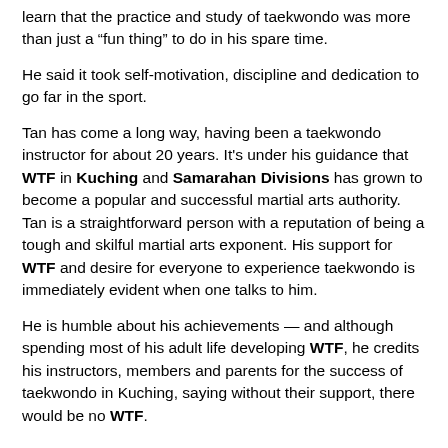learn that the practice and study of taekwondo was more than just a “fun thing” to do in his spare time.
He said it took self-motivation, discipline and dedication to go far in the sport.
Tan has come a long way, having been a taekwondo instructor for about 20 years. It’s under his guidance that WTF in Kuching and Samarahan Divisions has grown to become a popular and successful martial arts authority. Tan is a straightforward person with a reputation of being a tough and skilful martial arts exponent. His support for WTF and desire for everyone to experience taekwondo is immediately evident when one talks to him.
He is humble about his achievements — and although spending most of his adult life developing WTF, he credits his instructors, members and parents for the success of taekwondo in Kuching, saying without their support, there would be no WTF.